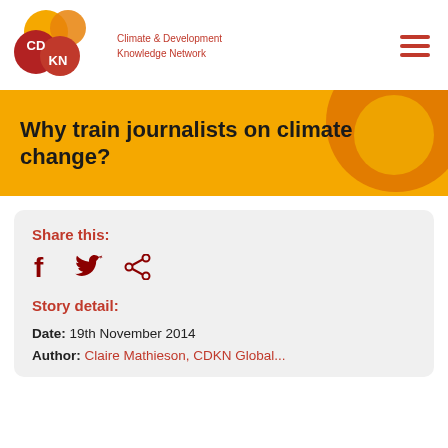[Figure (logo): CDKN Climate & Development Knowledge Network logo with overlapping circles in orange, red, and dark red, with white CDKN text]
Why train journalists on climate change?
Share this:
[Figure (illustration): Social share icons: Facebook (f), Twitter (bird), and share/forward icon in dark red]
Story detail:
Date: 19th November 2014
Author: Claire Mathieson, CDKN Global...